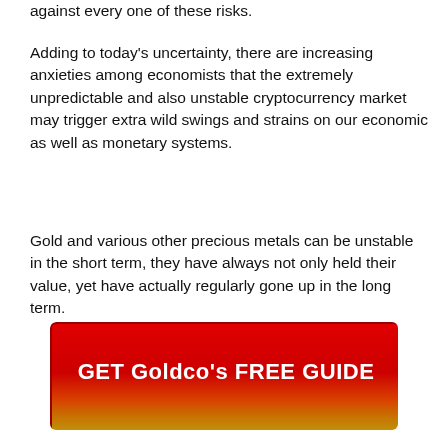against every one of these risks.
Adding to today’s uncertainty, there are increasing anxieties among economists that the extremely unpredictable and also unstable cryptocurrency market may trigger extra wild swings and strains on our economic as well as monetary systems.
Gold and various other precious metals can be unstable in the short term, they have always not only held their value, yet have actually regularly gone up in the long term.
[Figure (other): Red gradient button with text GET Goldco's FREE GUIDE]